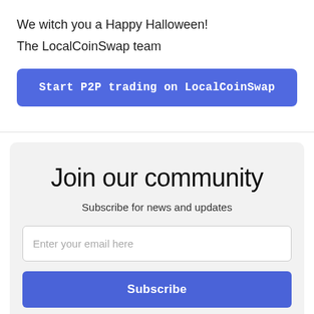We witch you a Happy Halloween!
The LocalCoinSwap team
Start P2P trading on LocalCoinSwap
Join our community
Subscribe for news and updates
Enter your email here
Subscribe